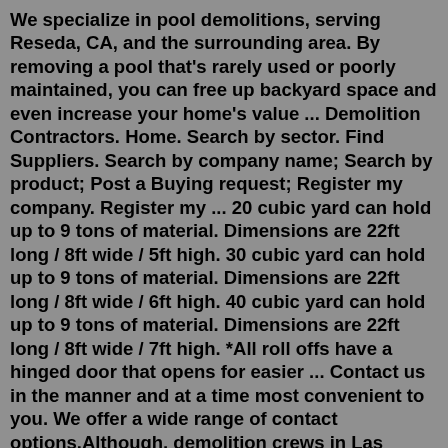We specialize in pool demolitions, serving Reseda, CA, and the surrounding area. By removing a pool that's rarely used or poorly maintained, you can free up backyard space and even increase your home's value ... Demolition Contractors. Home. Search by sector. Find Suppliers. Search by company name; Search by product; Post a Buying request; Register my company. Register my ... 20 cubic yard can hold up to 9 tons of material. Dimensions are 22ft long / 8ft wide / 5ft high. 30 cubic yard can hold up to 9 tons of material. Dimensions are 22ft long / 8ft wide / 6ft high. 40 cubic yard can hold up to 9 tons of material. Dimensions are 22ft long / 8ft wide / 7ft high. *All roll offs have a hinged door that opens for easier ... Contact us in the manner and at a time most convenient to you. We offer a wide range of contact options.Although, demolition crews in Las Vegas don't use wrecking balls anymore. It's all about excavators. Still, whenever a Las Vegas casino closes (or is demolished), an angel loses its wings. Especially